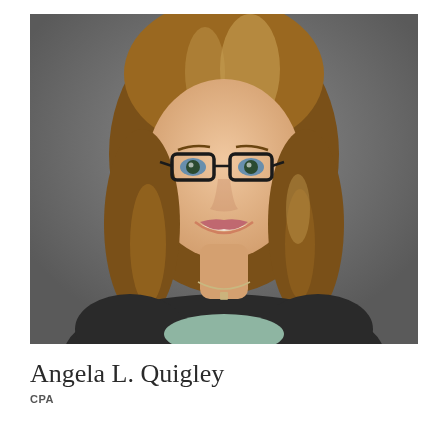[Figure (photo): Professional headshot of Angela L. Quigley, a woman with long wavy blonde-brown highlighted hair, wearing dark-rimmed glasses, a black blazer, mint green top, and a small cross necklace, smiling against a gray background.]
Angela L. Quigley
CPA